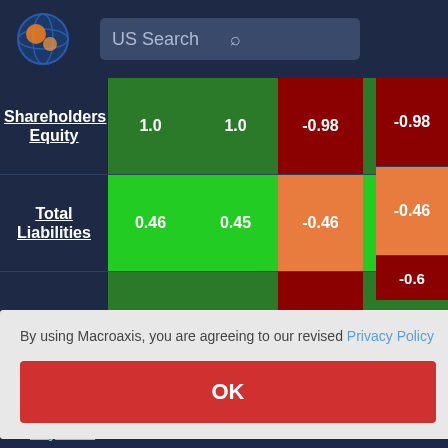[Figure (logo): Macroaxis globe logo - orange and blue sphere]
US Search
|  | Col1 | Col2 | Col3 | Col4 | Col5 |
| --- | --- | --- | --- | --- | --- |
| Shareholders Equity | 1.0 | 1.0 | -0.98 | 1.0 | -0.98 |
| Total Liabilities | 0.46 | 0.45 | -0.46 | 0.44 | -0.46 |
| Current |  |  |  |  | -0.6 |
|  |  |  |  |  | 1.0 |
|  |  |  |  |  | -0.5 |
| Payables |  |  |  |  |  |
By using Macroaxis, you are agreeing to our revised Privacy Policy
OK